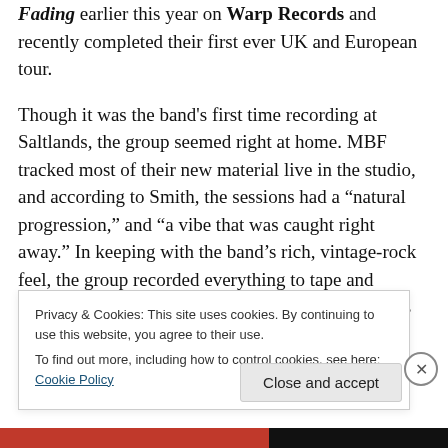Fading earlier this year on Warp Records and recently completed their first ever UK and European tour.
Though it was the band's first time recording at Saltlands, the group seemed right at home. MBF tracked most of their new material live in the studio, and according to Smith, the sessions had a “natural progression,” and “a vibe that was caught right away.” In keeping with the band’s rich, vintage-rock feel, the group recorded everything to tape and utilized Saltland’s almighty Ampeg B-15 on bass as well as their own vintage Music Man
Privacy & Cookies: This site uses cookies. By continuing to use this website, you agree to their use.
To find out more, including how to control cookies, see here: Cookie Policy